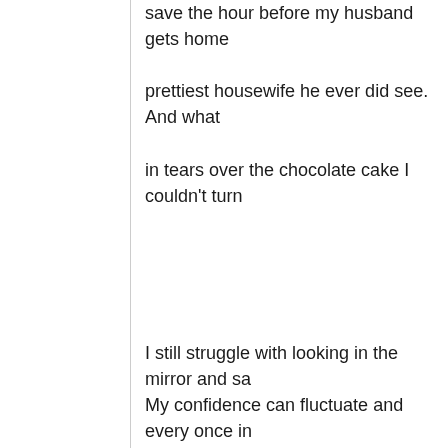save the hour before my husband gets home prettiest housewife he ever did see. And what in tears over the chocolate cake I couldn't turn
I still struggle with looking in the mirror and sa My confidence can fluctuate and every once in accompanies buffet lines or days off from wo fighting, and it is my choice to fight it. But there generation.
Instant inspiration and the ability to connect w before creates a pull. It is a pull for perfection, perfectionist who can't stand when things do will make my hair look shiny, my face look cle